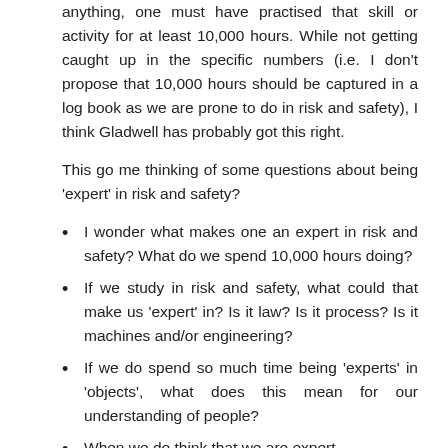anything, one must have practised that skill or activity for at least 10,000 hours. While not getting caught up in the specific numbers (i.e. I don't propose that 10,000 hours should be captured in a log book as we are prone to do in risk and safety), I think Gladwell has probably got this right.
This go me thinking of some questions about being 'expert' in risk and safety?
I wonder what makes one an expert in risk and safety? What do we spend 10,000 hours doing?
If we study in risk and safety, what could that make us 'expert' in? Is it law? Is it process? Is it machines and/or engineering?
If we do spend so much time being 'experts' in 'objects', what does this mean for our understanding of people?
When we do think that we are expert...